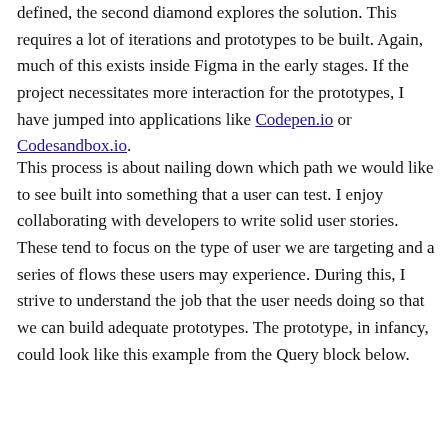defined, the second diamond explores the solution. This requires a lot of iterations and prototypes to be built. Again, much of this exists inside Figma in the early stages. If the project necessitates more interaction for the prototypes, I have jumped into applications like Codepen.io or Codesandbox.io.
This process is about nailing down which path we would like to see built into something that a user can test. I enjoy collaborating with developers to write solid user stories. These tend to focus on the type of user we are targeting and a series of flows these users may experience. During this, I strive to understand the job that the user needs doing so that we can build adequate prototypes. The prototype, in infancy, could look like this example from the Query block below.